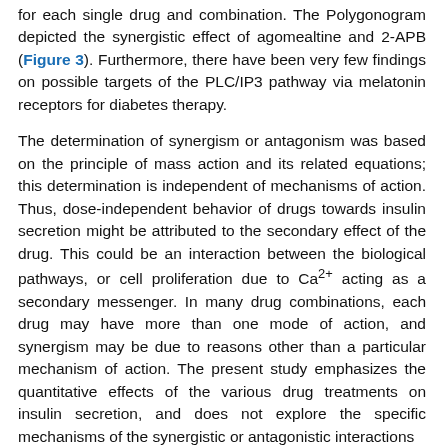for each single drug and combination. The Polygonogram depicted the synergistic effect of agomealtine and 2-APB (Figure 3). Furthermore, there have been very few findings on possible targets of the PLC/IP3 pathway via melatonin receptors for diabetes therapy.
The determination of synergism or antagonism was based on the principle of mass action and its related equations; this determination is independent of mechanisms of action. Thus, dose-independent behavior of drugs towards insulin secretion might be attributed to the secondary effect of the drug. This could be an interaction between the biological pathways, or cell proliferation due to Ca2+ acting as a secondary messenger. In many drug combinations, each drug may have more than one mode of action, and synergism may be due to reasons other than a particular mechanism of action. The present study emphasizes the quantitative effects of the various drug treatments on insulin secretion, and does not explore the specific mechanisms of the synergistic or antagonistic interactions